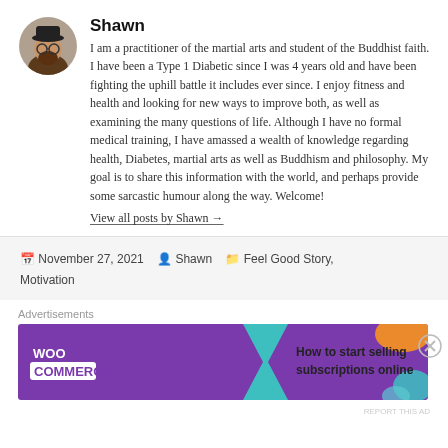[Figure (photo): Circular avatar photo of the author Shawn, a man with a beard wearing a dark hat]
Shawn
I am a practitioner of the martial arts and student of the Buddhist faith. I have been a Type 1 Diabetic since I was 4 years old and have been fighting the uphill battle it includes ever since. I enjoy fitness and health and looking for new ways to improve both, as well as examining the many questions of life. Although I have no formal medical training, I have amassed a wealth of knowledge regarding health, Diabetes, martial arts as well as Buddhism and philosophy. My goal is to share this information with the world, and perhaps provide some sarcastic humour along the way. Welcome!
View all posts by Shawn →
November 27, 2021   Shawn   Feel Good Story, Motivation
Advertisements
[Figure (screenshot): WooCommerce advertisement banner with purple background, teal arrow, orange and teal decorative shapes, and text: How to start selling subscriptions online]